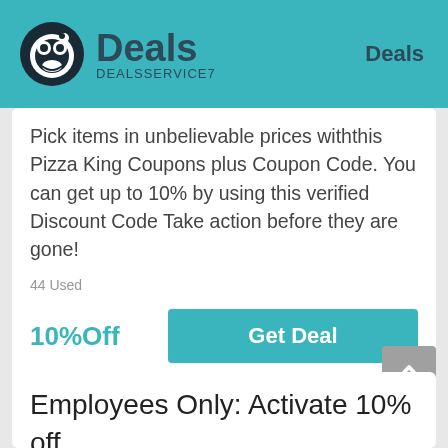Deals DEALSSERVICE7   Deals
Pick items in unbelievable prices withthis Pizza King Coupons plus Coupon Code. You can get up to 10% by using this verified Discount Code Take action before they are gone!
44 Used
10%Off
Get Deal
Employees Only: Activate 10% off